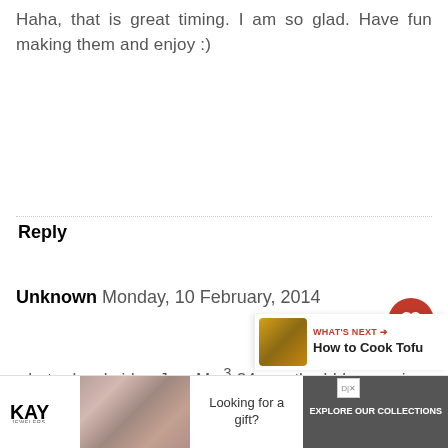Haha, that is great timing. I am so glad. Have fun making them and enjoy :)
Reply
Unknown Monday, 10 February, 2014
what a lovely idea Jac. My 24 month old loves crispy textures I will try this out with him..no egg needed either in your recipe, bonus! x
[Figure (other): Kay Jewelers advertisement banner with couple image and 'Looking for a gift? Explore Our Collections' call to action]